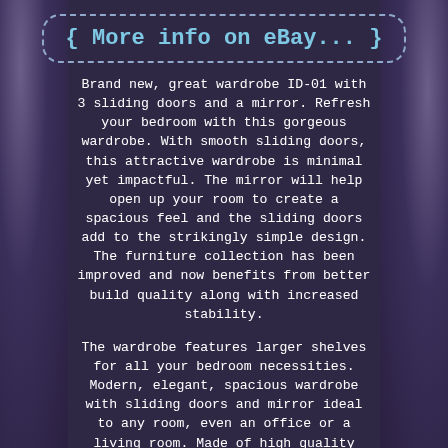More info on eBay...
Brand new, great wardrobe ID-01 with 3 sliding doors and a mirror. Refresh your bedroom with this gorgeous wardrobe. With smooth sliding doors, this attractive wardrobe is minimal yet impactful. The mirror will help open up your room to create a spacious feel and the sliding doors add to the strikingly simple design. The furniture collection has been improved and now benefits from better build quality along with increased stability.
The wardrobe features larger shelves for all your bedroom necessities. Modern, elegant, spacious wardrobe with sliding doors and mirror ideal to any room, even an office or a living room. Made of high quality laminated board with ABS. 3 sliding doors, mirror, with sliding...